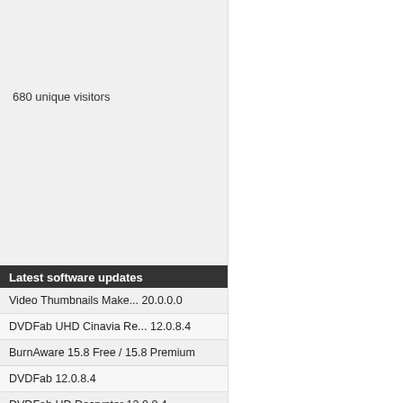680 unique visitors
Latest software updates
Video Thumbnails Make... 20.0.0.0
DVDFab UHD Cinavia Re... 12.0.8.4
BurnAware 15.8 Free / 15.8 Premium
DVDFab 12.0.8.4
DVDFab HD Decrypter 12.0.8.4
Search   Contact us   Privacy